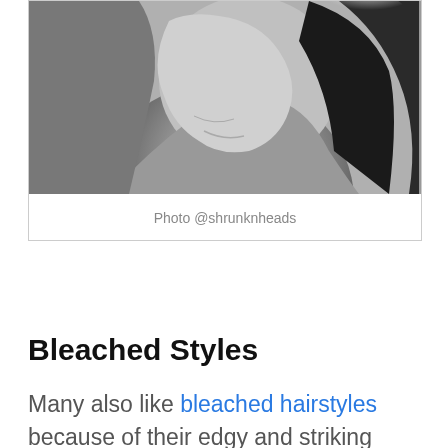[Figure (photo): Black and white close-up photograph of a person's head/hair, cropped tightly]
Photo @shrunknheads
Bleached Styles
Many also like bleached hairstyles because of their edgy and striking results. However, when sported in the corporate world, you may not impress everyone. Undeniably, the bleached style is effective in making a bold statement. However, employers and most people in the workplace may find the style distracting. It